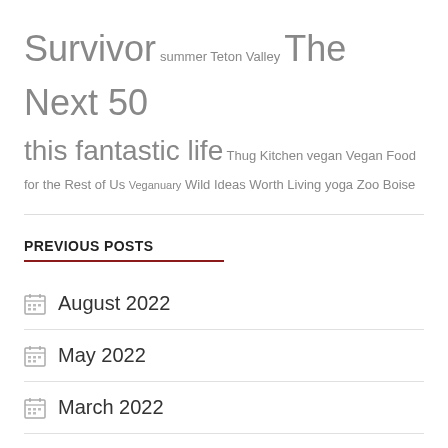Survivor summer Teton Valley The Next 50 this fantastic life Thug Kitchen vegan Vegan Food for the Rest of Us Veganuary Wild Ideas Worth Living yoga Zoo Boise
PREVIOUS POSTS
August 2022
May 2022
March 2022
January 2022